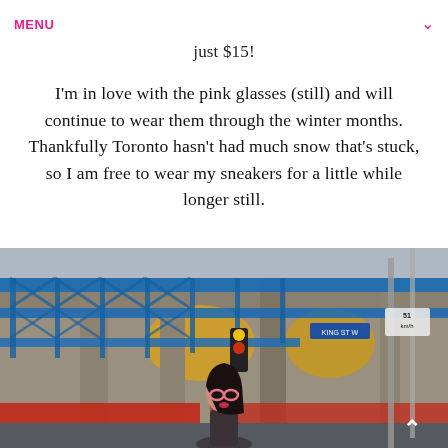MENU
just $15!
I'm in love with the pink glasses (still) and will continue to wear them through the winter months. Thankfully Toronto hasn't had much snow that's stuck, so I am free to wear my sneakers for a little while longer still.
[Figure (photo): Street photo of a woman with long dark hair and pink glasses standing in front of a building wrapped in blue scaffolding in downtown Toronto]